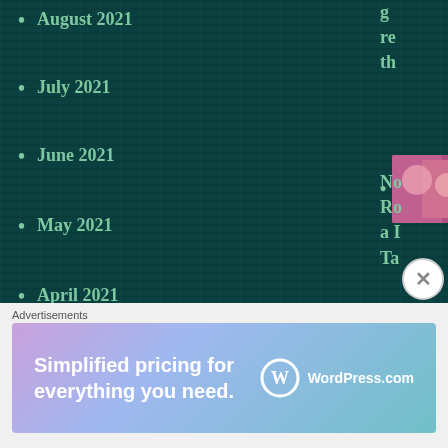August 2021
July 2021
June 2021
May 2021
April 2021
March 2021
February 2021
January 2021
December 2020
November 2020
October 2020
September 2020
[Figure (photo): Two women posing together]
[Figure (photo): Fantasy/adventure scene]
[Figure (photo): Book cover - Wild]
No Re a Ta
Th In ep ap
W wi
Advertisements
[Figure (screenshot): WordPress.com advertisement: Simplified pricing for everything you need.]